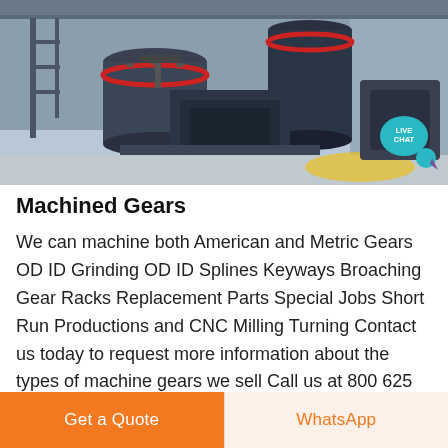[Figure (photo): Industrial machinery in a factory setting — large cylindrical mills, heavy equipment on a concrete floor with structural steel framework visible in the background. A 'LIVE CHAT' bubble badge is overlaid in the top-right area of the image.]
Machined Gears
We can machine both American and Metric Gears OD ID Grinding OD ID Splines Keyways Broaching Gear Racks Replacement Parts Special Jobs Short Run Productions and CNC Milling Turning Contact us today to request more information about the types of machine gears we sell Call us at 800 625 8665 today.
[Figure (other): Get a Quote button (orange) and WhatsApp button (light peach with orange text) at the bottom of the page]